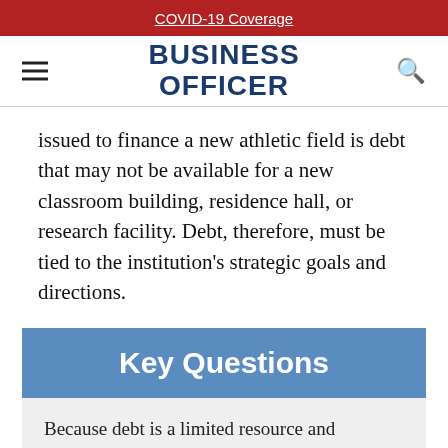COVID-19 Coverage
BUSINESS OFFICER
issued to finance a new athletic field is debt that may not be available for a new classroom building, residence hall, or research facility. Debt, therefore, must be tied to the institution's strategic goals and directions.
Key Questions
Because debt is a limited resource and